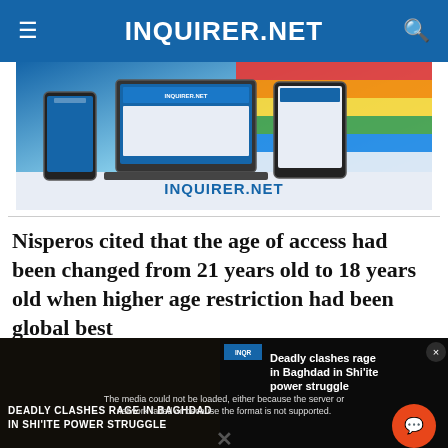INQUIRER.NET
[Figure (screenshot): INQUIRER.NET advertisement banner showing devices (phone, laptop, tablet) with colorful rainbow stripes and the INQUIRER.NET logo]
Nisperos cited that the age of access had been changed from 21 years old to 18 years old when higher age restriction had been global best
[Figure (screenshot): Video overlay showing 'DEADLY CLASHES RAGE IN BAGHDAD IN SHI'ITE POWER STRUGGLE' with media error message: 'The media could not be loaded, either because the server or network failed or because the format is not supported.' Right side shows 'Deadly clashes rage in Baghdad in Shi'ite power struggle' news title. Orange chat button visible. X close button at bottom.]